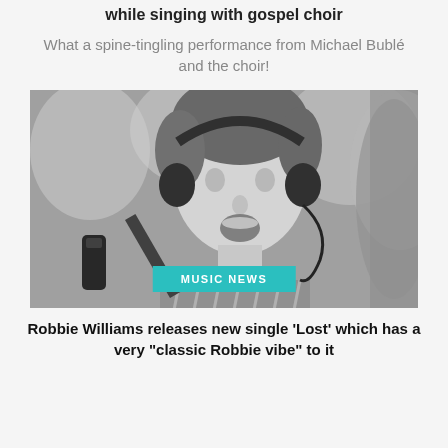while singing with gospel choir
What a spine-tingling performance from Michael Bublé and the choir!
[Figure (photo): Black and white photo of a man wearing headphones singing into a microphone, with a MUSIC NEWS badge overlay at the bottom center]
Robbie Williams releases new single 'Lost' which has a very "classic Robbie vibe" to it